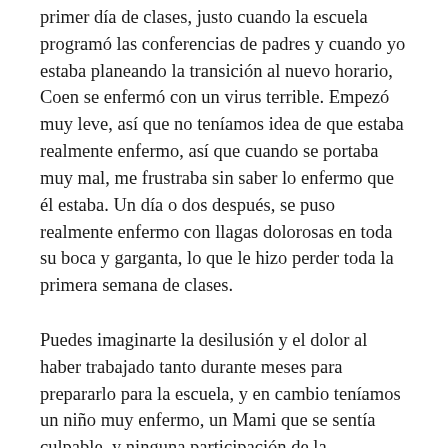primer día de clases, justo cuando la escuela programó las conferencias de padres y cuando yo estaba planeando la transición al nuevo horario, Coen se enfermó con un virus terrible. Empezó muy leve, así que no teníamos idea de que estaba realmente enfermo, así que cuando se portaba muy mal, me frustraba sin saber lo enfermo que él estaba. Un día o dos después, se puso realmente enfermo con llagas dolorosas en toda su boca y garganta, lo que le hizo perder toda la primera semana de clases.
Puedes imaginarte la desilusión y el dolor al haber trabajado tanto durante meses para prepararlo para la escuela, y en cambio teníamos un niño muy enfermo, un Mami que se sentía culpable, y ninguna participación de la extravagancia del "primer día de clases". Fue en